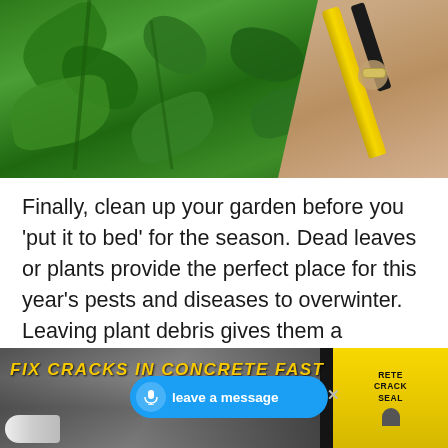[Figure (photo): Close-up photo of green plant leaves being pruned with yellow-handled scissors/pruning shears, held by a human hand. Background shows lush green foliage.]
Finally, clean up your garden before you ‘put it to bed’ for the season. Dead leaves or plants provide the perfect place for this year’s pests and diseases to overwinter. Leaving plant debris gives them a headstart on next year’s garden! As an example, last year’s windfall apples are the primary cause of this year’s wormy apples!
Pull up dead annuals, prune anything that requires
[Figure (screenshot): Advertisement banner at bottom of page. Black background with yellow italic bold text 'FIX CRACKS IN CONCRETE FAST'. Shows a concrete crack repair product image on the right side. A blue voice/microphone button labeled 'leave a message' overlays the right portion. An X close button is visible at the far right.]